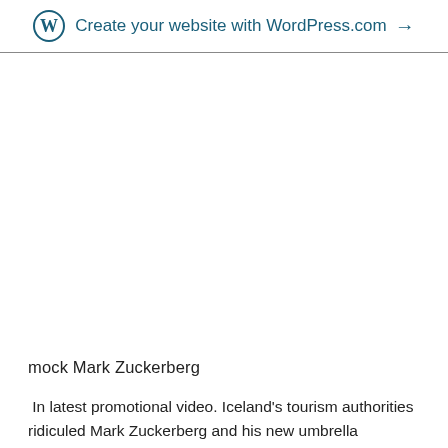Create your website with WordPress.com →
mock Mark Zuckerberg
In latest promotional video. Iceland's tourism authorities ridiculed Mark Zuckerberg and his new umbrella company